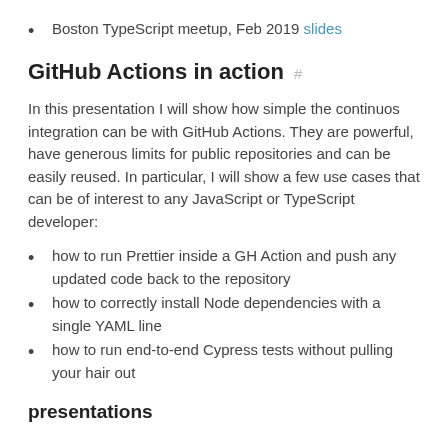Boston TypeScript meetup, Feb 2019 slides
GitHub Actions in action
In this presentation I will show how simple the continuos integration can be with GitHub Actions. They are powerful, have generous limits for public repositories and can be easily reused. In particular, I will show a few use cases that can be of interest to any JavaScript or TypeScript developer:
how to run Prettier inside a GH Action and push any updated code back to the repository
how to correctly install Node dependencies with a single YAML line
how to run end-to-end Cypress tests without pulling your hair out
presentations